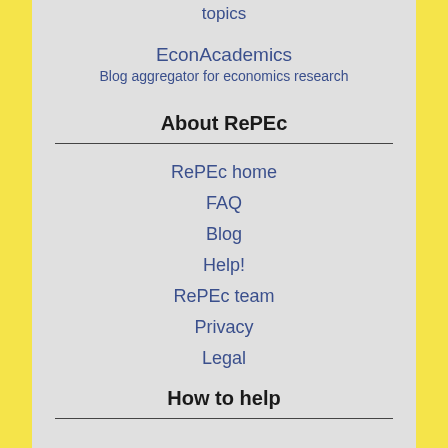topics
EconAcademics
Blog aggregator for economics research
About RePEc
RePEc home
FAQ
Blog
Help!
RePEc team
Privacy
Legal
How to help